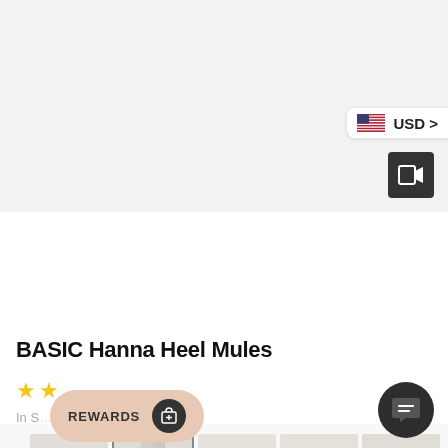[Figure (photo): Main product image area showing a light beige/cream background, product photo area for heel mules (mostly empty/light background shown)]
[Figure (screenshot): Currency selector badge showing US flag and USD text with chevron]
[Figure (other): Video/camera button icon in dark square, bottom right of main image]
[Figure (photo): Thumbnail carousel row with 5 product thumbnails: first shows shoe from above, second shows model wearing heels with cropped trousers, third shows close-up of heel mule front, fourth shows side profile of shoe, fifth shows back view of two shoes. Navigation arrows on both sides.]
BASIC Hanna Heel Mules
[Figure (other): Two yellow star icons representing partial rating]
In S...
[Figure (other): REWARDS pill button with gift icon]
[Figure (other): Chat bubble icon button, dark circular, bottom right]